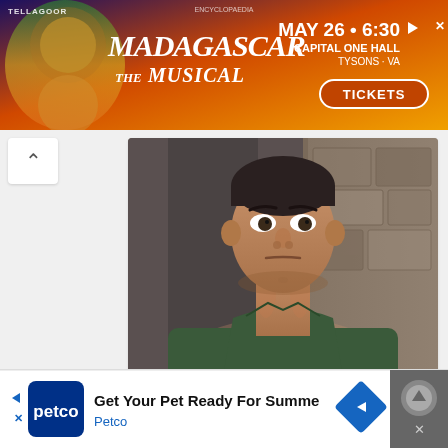[Figure (screenshot): Advertisement banner for Madagascar The Musical. Shows a lion character on left, Madagascar title in stylized text, date MAY 26 · 6:30, CAPITAL ONE HALL, TYSONS-VA, TICKETS button.]
[Figure (photo): A muscular man in a dark green shirt looking intensely at the camera, stone wall background — appears to be a movie still of Arnold Schwarzenegger.]
Arnold Schwarzenegger's Scariest Movie Is Eliminating The Streaming Competition
4 days ago
[Figure (screenshot): Bottom advertisement for Petco: 'Get Your Pet Ready For Summe' 'Petco' with Petco logo and navigation icons.]